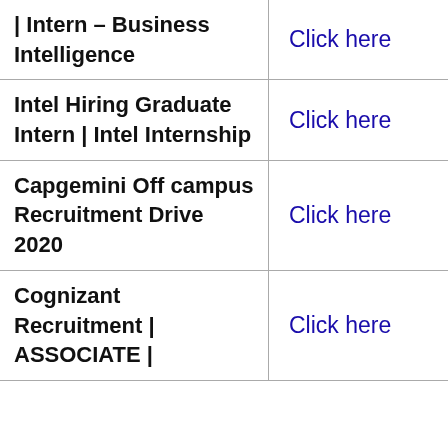| Job Title | Link |
| --- | --- |
| | Intern – Business Intelligence | Click here |
| Intel Hiring Graduate Intern | Intel Internship | Click here |
| Capgemini Off campus Recruitment Drive 2020 | Click here |
| Cognizant Recruitment | ASSOCIATE | | Click here |